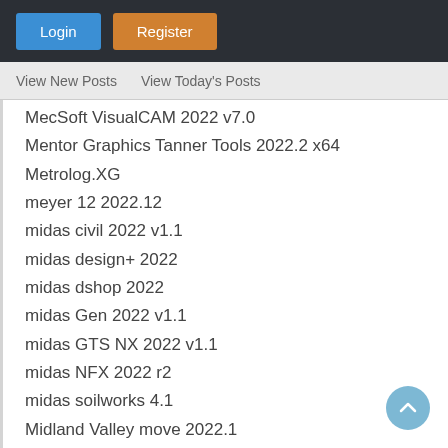Login  Register
View New Posts   View Today's Posts
MecSoft VisualCAM 2022 v7.0
Mentor Graphics Tanner Tools 2022.2 x64
Metrolog.XG
meyer 12 2022.12
midas civil 2022 v1.1
midas design+ 2022
midas dshop 2022
midas Gen 2022 v1.1
midas GTS NX 2022 v1.1
midas NFX 2022 r2
midas soilworks 4.1
Midland Valley move 2022.1
MillBox 2022
MineSched 9.1.0 x64
MineSight 2022 12.0 Win64
MOSES
Motocom32 dx200 plus